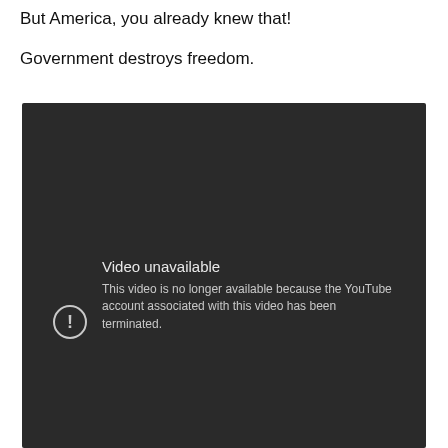But America, you already knew that!
Government destroys freedom.
[Figure (screenshot): YouTube video unavailable error screen on dark background. Text reads: 'Video unavailable — This video is no longer available because the YouTube account associated with this video has been terminated.' with a circle exclamation icon.]